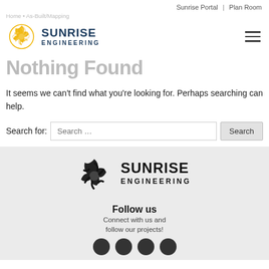Sunrise Portal | Plan Room
Home • As-Built/Mapping
[Figure (logo): Sunrise Engineering logo with yellow spiral sun icon and dark blue text]
Nothing Found
It seems we can't find what you're looking for. Perhaps searching can help.
Search for: [Search …] Search
[Figure (logo): Sunrise Engineering black and white logo in footer]
Follow us
Connect with us and follow our projects!